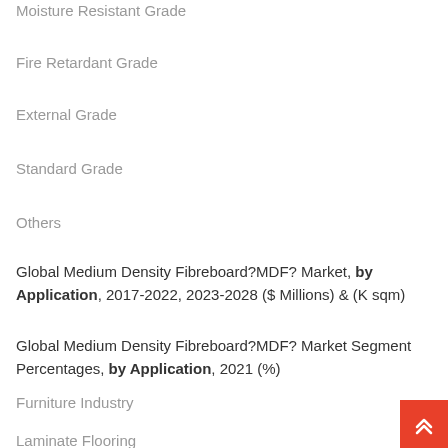Moisture Resistant Grade
Fire Retardant Grade
External Grade
Standard Grade
Others
Global Medium Density Fibreboard?MDF? Market, by Application, 2017-2022, 2023-2028 ($ Millions) & (K sqm)
Global Medium Density Fibreboard?MDF? Market Segment Percentages, by Application, 2021 (%)
Furniture Industry
Laminate Flooring